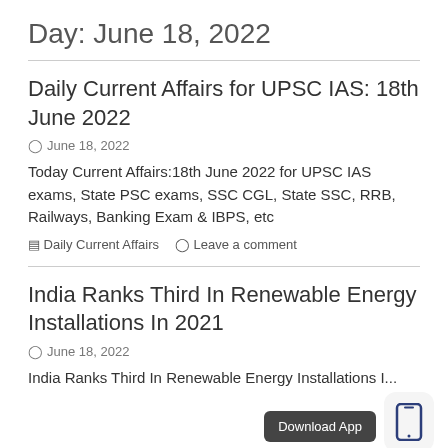Day: June 18, 2022
Daily Current Affairs for UPSC IAS: 18th June 2022
June 18, 2022
Today Current Affairs:18th June 2022 for UPSC IAS exams, State PSC exams, SSC CGL, State SSC, RRB, Railways, Banking Exam & IBPS, etc
Daily Current Affairs   Leave a comment
India Ranks Third In Renewable Energy Installations In 2021
June 18, 2022
India Ranks Third In Renewable Energy Installations In...